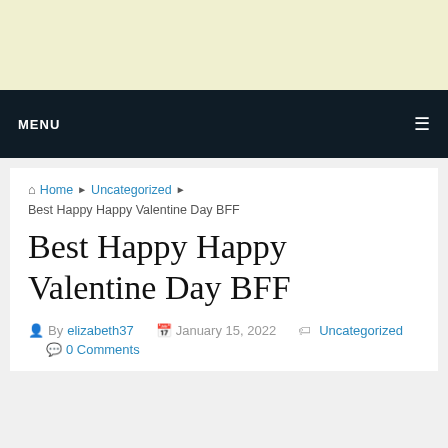[Figure (other): Light yellow advertisement banner area at the top of the page]
MENU ☰
🏠 Home ▶ Uncategorized ▶
Best Happy Happy Valentine Day BFF
Best Happy Happy Valentine Day BFF
By elizabeth37  January 15, 2022  Uncategorized  0 Comments